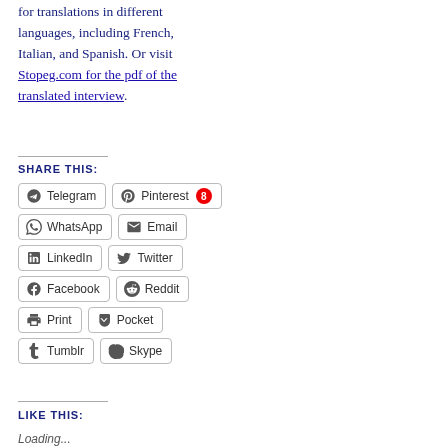for translations in different languages, including French, Italian, and Spanish. Or visit Stopeg.com for the pdf of the translated interview.
SHARE THIS:
Telegram | Pinterest 8 | WhatsApp | Email | LinkedIn | Twitter | Facebook | Reddit | Print | Pocket | Tumblr | Skype
LIKE THIS:
Loading...